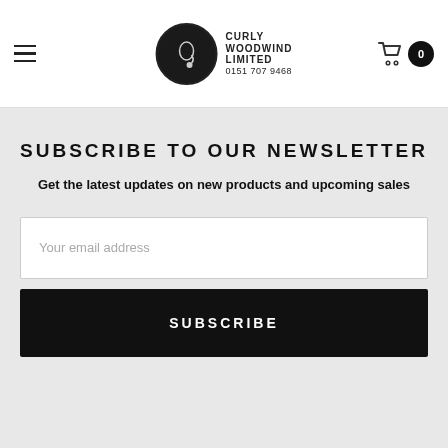Curly Woodwind Limited — 0151 707 9468
SUBSCRIBE TO OUR NEWSLETTER
Get the latest updates on new products and upcoming sales